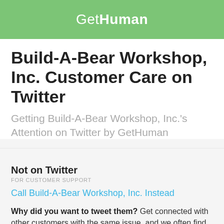GetHuman
Build-A-Bear Workshop, Inc. Customer Care on Twitter
Getting Build-A-Bear Workshop, Inc.'s Attention on Twitter by GetHuman
Not on Twitter
FOR CUSTOMER SUPPORT
Call Build-A-Bear Workshop, Inc. Instead
Why did you want to tweet them? Get connected with other customers with the same issue, and we often find